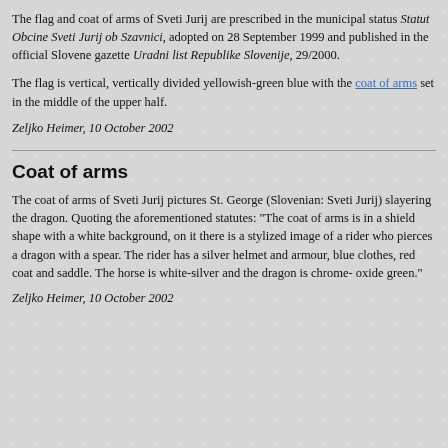The flag and coat of arms of Sveti Jurij are prescribed in the municipal status Statut Obcine Sveti Jurij ob Szavnici, adopted on 28 September 1999 and published in the official Slovene gazette Uradni list Republike Slovenije, 29/2000.
The flag is vertical, vertically divided yellowish-green blue with the coat of arms set in the middle of the upper half.
Zeljko Heimer, 10 October 2002
Coat of arms
The coat of arms of Sveti Jurij pictures St. George (Slovenian: Sveti Jurij) slayering the dragon. Quoting the aforementioned statutes: "The coat of arms is in a shield shape with a white background, on it there is a stylized image of a rider who pierces a dragon with a spear. The rider has a silver helmet and armour, blue clothes, red coat and saddle. The horse is white-silver and the dragon is chrome- oxide green."
Zeljko Heimer, 10 October 2002